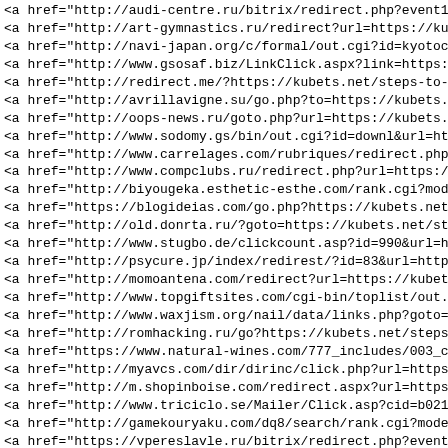List of HTML anchor tags with href attributes pointing to various redirect/tracking URLs